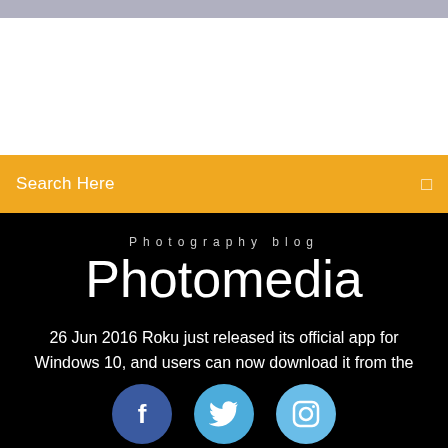[Figure (screenshot): Top image area with light grey/blue gradient strip and white background below]
Search Here
Photography blog
Photomedia
26 Jun 2016 Roku just released its official app for Windows 10, and users can now download it from the Windows Store for free. The app allows registered
[Figure (illustration): Three social media icons in circles: Facebook (f), Twitter (bird), Instagram (camera)]